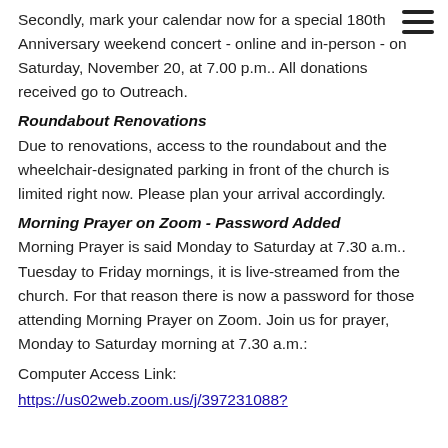Secondly, mark your calendar now for a special 180th Anniversary weekend concert - online and in-person - on Saturday, November 20, at 7.00 p.m.. All donations received go to Outreach.
Roundabout Renovations
Due to renovations, access to the roundabout and the wheelchair-designated parking in front of the church is limited right now. Please plan your arrival accordingly.
Morning Prayer on Zoom - Password Added
Morning Prayer is said Monday to Saturday at 7.30 a.m.. Tuesday to Friday mornings, it is live-streamed from the church. For that reason there is now a password for those attending Morning Prayer on Zoom. Join us for prayer, Monday to Saturday morning at 7.30 a.m.:
Computer Access Link:
https://us02web.zoom.us/j/397231088?